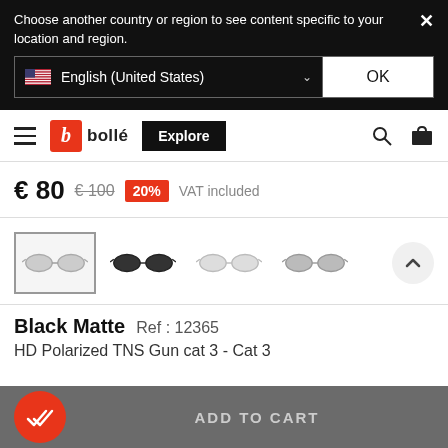Choose another country or region to see content specific to your location and region.
English (United States)
OK
[Figure (screenshot): Bollé brand navigation bar with hamburger menu, logo, Explore button, search and cart icons]
€ 80  € 100  20%  VAT included
[Figure (photo): Four thumbnail images of sunglasses variants: silver lenses, black frame, light grey frame, dark grey frame]
Black Matte   Ref : 12365
HD Polarized TNS Gun cat 3 - Cat 3
ADD TO CART